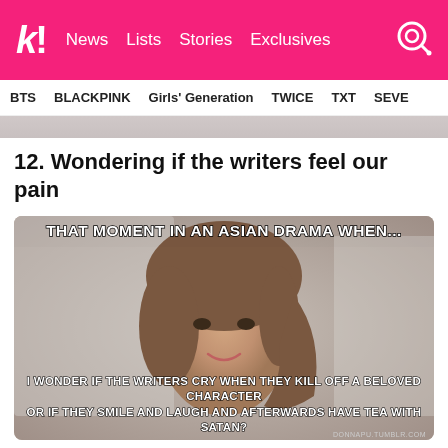k! News Lists Stories Exclusives
BTS BLACKPINK Girls' Generation TWICE TXT SEVE
[Figure (photo): Partial image strip at top of article]
12. Wondering if the writers feel our pain
[Figure (photo): Meme image of a smiling Asian woman with text overlay: top text reads 'THAT MOMENT IN AN ASIAN DRAMA WHEN...' and bottom text reads 'I WONDER IF THE WRITERS CRY WHEN THEY KILL OFF A BELOVED CHARACTER OR IF THEY SMILE AND LAUGH AND AFTERWARDS HAVE TEA WITH SATAN?' with attribution donnapu.tumblr.com]